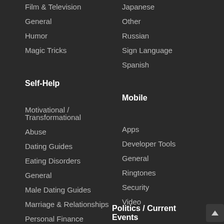Film & Television
General
Humor
Magic Tricks
Japanese
Other
Russian
Sign Language
Spanish
Self-Help
Mobile
Motivational / Transformational
Abuse
Dating Guides
Eating Disorders
General
Male Dating Guides
Marriage & Relationships
Personal Finance
Public Speaking
Self Defense
Self Esteem
Apps
Developer Tools
General
Ringtones
Security
Video
Politics / Current Events